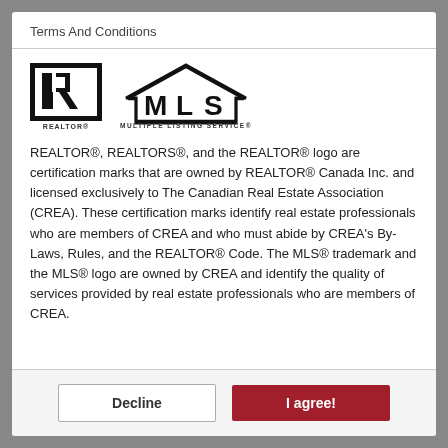Terms And Conditions
[Figure (logo): REALTOR and MLS Multiple Listing Service logos]
REALTOR®, REALTORS®, and the REALTOR® logo are certification marks that are owned by REALTOR® Canada Inc. and licensed exclusively to The Canadian Real Estate Association (CREA). These certification marks identify real estate professionals who are members of CREA and who must abide by CREA's By-Laws, Rules, and the REALTOR® Code. The MLS® trademark and the MLS® logo are owned by CREA and identify the quality of services provided by real estate professionals who are members of CREA.